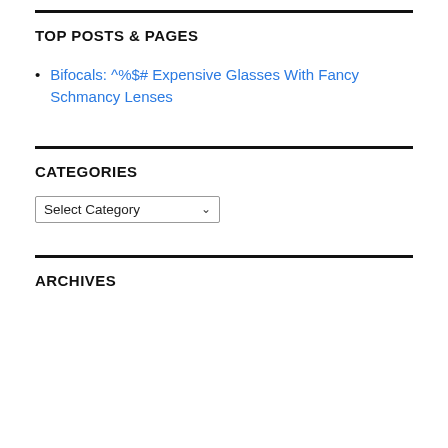TOP POSTS & PAGES
Bifocals: ^%$# Expensive Glasses With Fancy Schmancy Lenses
CATEGORIES
Select Category
ARCHIVES